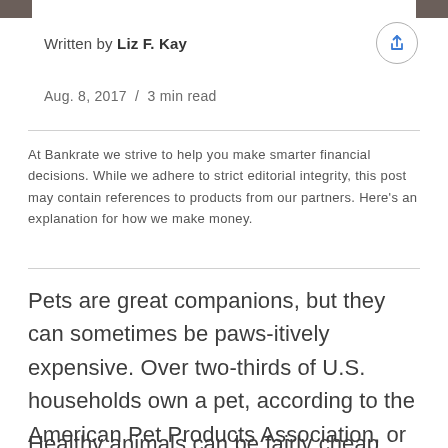Written by Liz F. Kay
Aug. 8, 2017  /  3 min read
At Bankrate we strive to help you make smarter financial decisions. While we adhere to strict editorial integrity, this post may contain references to products from our partners. Here’s an explanation for how we make money.
Pets are great companions, but they can sometimes be paws-itively expensive. Over two-thirds of U.S. households own a pet, according to the American Pet Products Association, or APPA. So many families should budget for their needs.
Healthy animals can be fairly cheap, but costs can